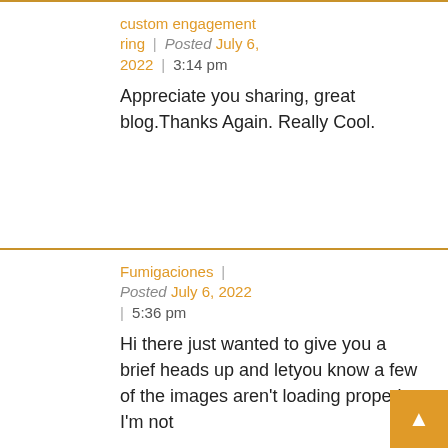custom engagement ring | Posted July 6, 2022 | 3:14 pm
Appreciate you sharing, great blog.Thanks Again. Really Cool.
Fumigaciones | Posted July 6, 2022 | 5:36 pm
Hi there just wanted to give you a brief heads up and letyou know a few of the images aren't loading properly. I'm not